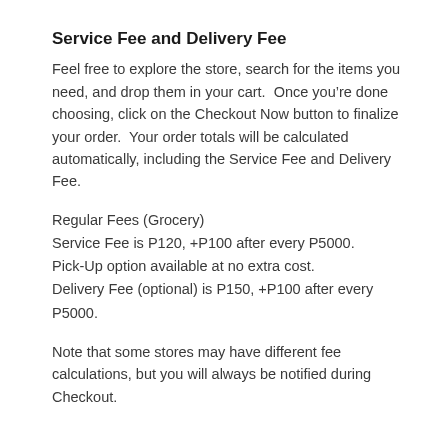Service Fee and Delivery Fee
Feel free to explore the store, search for the items you need, and drop them in your cart.  Once you’re done choosing, click on the Checkout Now button to finalize your order.  Your order totals will be calculated automatically, including the Service Fee and Delivery Fee.
Regular Fees (Grocery)
Service Fee is P120, +P100 after every P5000.
Pick-Up option available at no extra cost.
Delivery Fee (optional) is P150, +P100 after every P5000.
Note that some stores may have different fee calculations, but you will always be notified during Checkout.